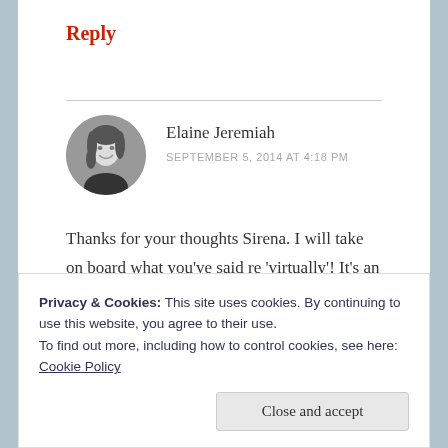Reply
[Figure (photo): Circular avatar photo of Elaine Jeremiah, a woman with long hair, smiling, in black and white]
Elaine Jeremiah
SEPTEMBER 5, 2014 AT 4:18 PM
Thanks for your thoughts Sirena. I will take on board what you’ve said re ‘virtually’! It’s an interesting point you make.
Privacy & Cookies: This site uses cookies. By continuing to use this website, you agree to their use.
To find out more, including how to control cookies, see here: Cookie Policy
Close and accept